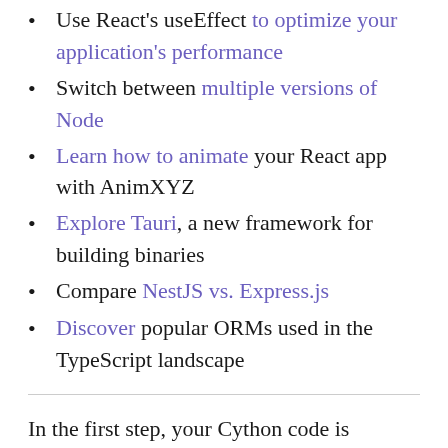Use React's useEffect to optimize your application's performance
Switch between multiple versions of Node
Learn how to animate your React app with AnimXYZ
Explore Tauri, a new framework for building binaries
Compare NestJS vs. Express.js
Discover popular ORMs used in the TypeScript landscape
In the first step, your Cython code is converted into equivalent optimized and